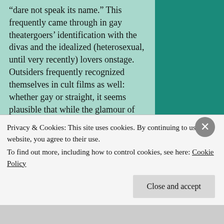“dare not speak its name.”  This frequently came through in gay theatergoers’ identification with the divas and the idealized (heterosexual, until very recently) lovers onstage.  Outsiders frequently recognized themselves in cult films as well: whether gay or straight, it seems plausible that while the glamour of the theater may seem preferable to ordinary life for many audiences, there’s a similar identification with the monsters and misfits of the horror and science fiction films that also attract cult audiences.  Outwardly opposite, they appeal to the same impulse, intertwined in such figures as the Bride of Frankenstein and Vampira
Privacy & Cookies: This site uses cookies. By continuing to use this website, you agree to their use.
To find out more, including how to control cookies, see here: Cookie Policy